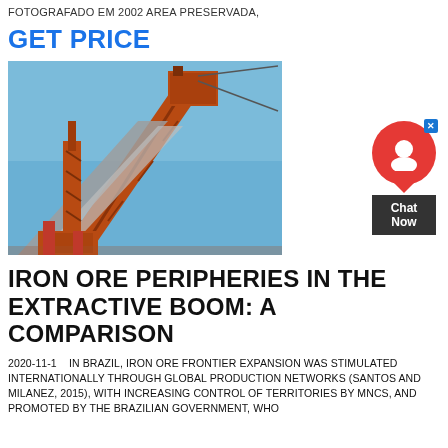FOTOGRAFADO EM 2002 AREA PRESERVADA,
GET PRICE
[Figure (photo): Industrial iron ore conveyor belt and crane structure with orange metal framework against a blue sky]
IRON ORE PERIPHERIES IN THE EXTRACTIVE BOOM: A COMPARISON
2020-11-1    IN BRAZIL, IRON ORE FRONTIER EXPANSION WAS STIMULATED INTERNATIONALLY THROUGH GLOBAL PRODUCTION NETWORKS (SANTOS AND MILANEZ, 2015), WITH INCREASING CONTROL OF TERRITORIES BY MNCS, AND PROMOTED BY THE BRAZILIAN GOVERNMENT, WHO